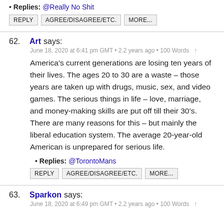• Replies: @Really No Shit
REPLY   AGREE/DISAGREE/ETC.   MORE...
62. Art says:
June 18, 2020 at 6:41 pm GMT • 2.2 years ago • 100 Words ↑
America's current generations are losing ten years of their lives. The ages 20 to 30 are a waste – those years are taken up with drugs, music, sex, and video games. The serious things in life – love, marriage, and money-making skills are put off till their 30's. There are many reasons for this – but mainly the liberal education system. The average 20-year-old American is unprepared for serious life.
• Replies: @TorontoMans
REPLY   AGREE/DISAGREE/ETC.   MORE...
63. Sparkon says:
June 18, 2020 at 6:49 pm GMT • 2.2 years ago • 100 Words ↑